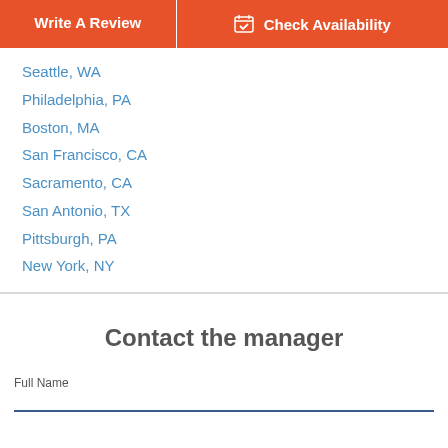Write A Review
Check Availability
Seattle, WA
Philadelphia, PA
Boston, MA
San Francisco, CA
Sacramento, CA
San Antonio, TX
Pittsburgh, PA
New York, NY
Contact the manager
Full Name